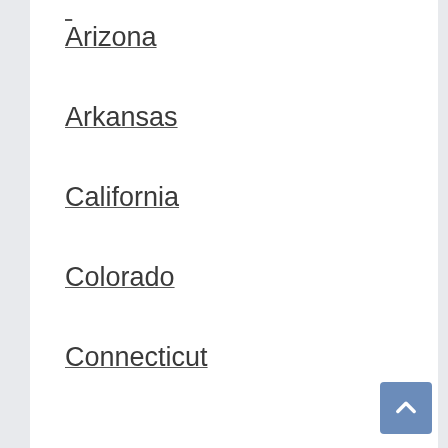Arizona
Arkansas
California
Colorado
Connecticut
Delaware
Florida
Georgia
Hawaii
Idaho
Illinois
Indiana
Iowa